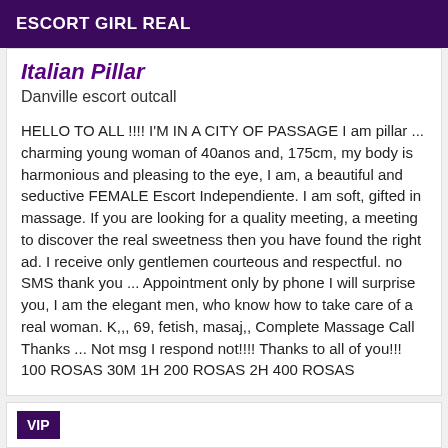ESCORT GIRL REAL
Italian Pillar
Danville escort outcall
HELLO TO ALL !!!! I'M IN A CITY OF PASSAGE I am pillar ... charming young woman of 40anos and, 175cm, my body is harmonious and pleasing to the eye, I am, a beautiful and seductive FEMALE Escort Independiente. I am soft, gifted in massage. If you are looking for a quality meeting, a meeting to discover the real sweetness then you have found the right ad. I receive only gentlemen courteous and respectful. no SMS thank you ... Appointment only by phone I will surprise you, I am the elegant men, who know how to take care of a real woman. K,,, 69, fetish, masaj,, Complete Massage Call Thanks ... Not msg I respond not!!!! Thanks to all of you!!! 100 ROSAS 30M 1H 200 ROSAS 2H 400 ROSAS
VIP